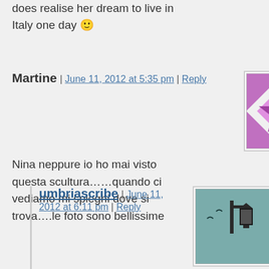does realise her dream to live in Italy one day 🙂
Martine | June 11, 2012 at 5:35 pm | Reply
[Figure (illustration): Purple and white geometric star/quilt pattern avatar icon]
Nina neppure io ho mai visto questa scultura……quando ci vediamo mi spieghi dove si trova….le foto sono bellissime
umbriascribe | June 11, 2012 at 6:11 pm | Reply
[Figure (illustration): Street lantern on teal/green background avatar image]
Ma Martina! Certo hai visto la scultura! E' la bellissima scultura davanti dal fabbrica di Luca!!